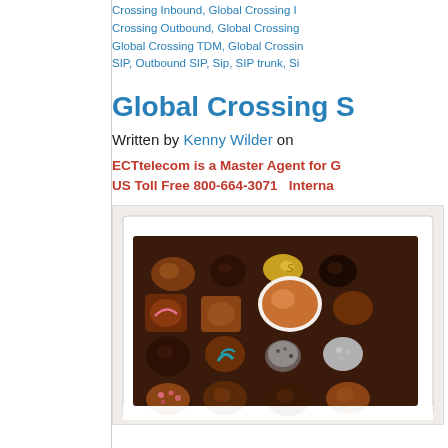Crossing Inbound, Global Crossing I... Crossing Outbound, Global Crossing... Global Crossing TDM, Global Crossin... SIP, Outbound SIP, Sip, SIP trunk, Si...
Global Crossing S...
Written by Kenny Wilder on ...
ECTtelecom is a Master Agent for G...
US Toll Free 800-664-3071   Interna...
[Figure (photo): A box of assorted chocolates with various shapes including round, square, and irregularly shaped chocolates in dark and milk chocolate varieties, some with decorative toppings.]